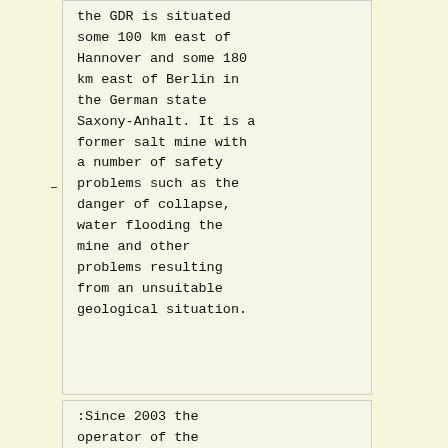the GDR is situated some 100 km east of Hannover and some 180 km east of Berlin in the German state Saxony-Anhalt. It is a former salt mine with a number of safety problems such as the danger of collapse, water flooding the mine and other problems resulting from an unsuitable geological situation.
:Since 2003 the operator of the repository - the federal office for radiation protection (BfS) - is introducing